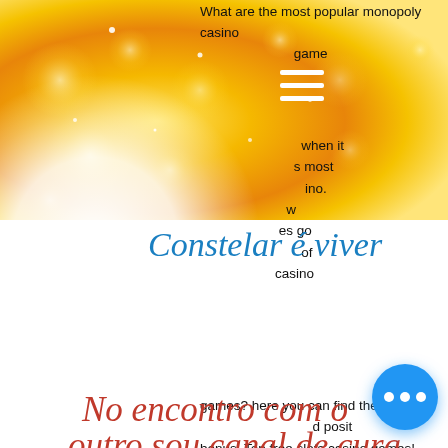[Figure (photo): Golden bokeh background with white circular glow and decorative sparkles]
What are the most popular monopoly casino game
[Figure (screenshot): Hamburger menu icon (three white horizontal lines)]
when it s most ino. w es go of casino games? here you can find the perfect d posit bonus. Top free slots casino games! play vegas casino slot machines now! play casino slots machines with game coin rounds and fre spins. One of the ... was an early
Constelar é viver
No encontro com o outro sou canal de cura, minha e do outro.
Rita Paula Tyminski
form of backgammon, called the Com is the only website you need when you are looking for game rules. Find rules to popular card games, board games and more. These most common variants of games tend to have
[Figure (other): Blue circular floating action button with three white dots]